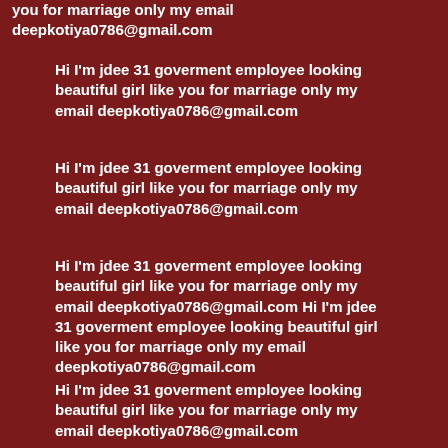you for marriage only my email deepkotiya0786@gmail.com
Hi I'm jdee 31 goverment employee looking beautiful girl like you for marriage only my email deepkotiya0786@gmail.com
Hi I'm jdee 31 goverment employee looking beautiful girl like you for marriage only my email deepkotiya0786@gmail.com
Hi I'm jdee 31 goverment employee looking beautiful girl like you for marriage only my email deepkotiya0786@gmail.com Hi I'm jdee 31 goverment employee looking beautiful girl like you for marriage only my email deepkotiya0786@gmail.com
Hi I'm jdee 31 goverment employee looking beautiful girl like you for marriage only my email deepkotiya0786@gmail.com